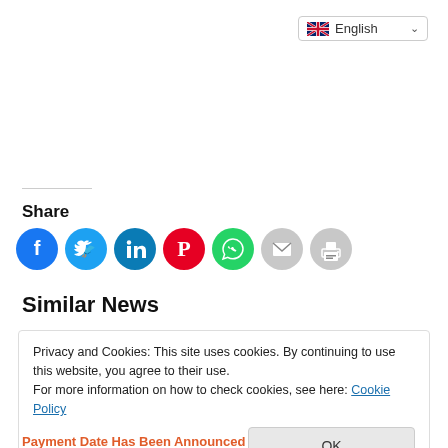[Figure (other): Language selector dropdown showing English with flag icon and dropdown arrow, positioned top right]
Share
[Figure (infographic): Row of 7 social share buttons: Facebook (blue circle), Twitter (light blue circle), LinkedIn (teal circle), Pinterest (red circle), WhatsApp (green circle), Email (light gray circle), Print (light gray circle)]
Similar News
Privacy and Cookies: This site uses cookies. By continuing to use this website, you agree to their use.
For more information on how to check cookies, see here: Cookie Policy
OK
Payment Date Has Been Announced